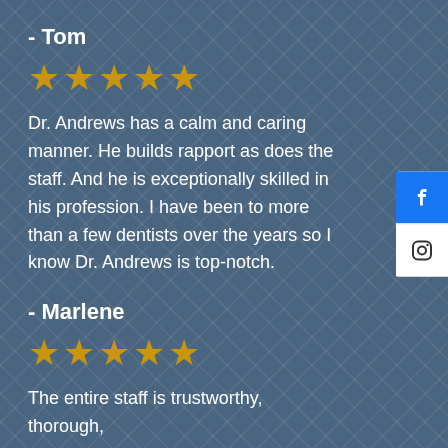- Tom
[Figure (other): 5 gold stars rating]
Dr. Andrews has a calm and caring manner. He builds rapport as does the staff. And he is exceptionally skilled in his profession. I have been to more than a few dentists over the years so I know Dr. Andrews is top-notch.
- Marlene
[Figure (other): 5 gold stars rating]
The entire staff is trustworthy, thorough,